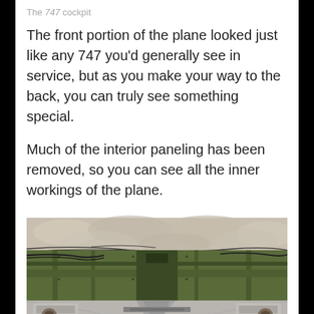The 747 cockpit
The front portion of the plane looked just like any 747 you'd generally see in service, but as you make your way to the back, you can truly see something special.
Much of the interior paneling has been removed, so you can see all the inner workings of the plane.
[Figure (photo): Interior of a 747 aircraft with paneling removed, showing green structural framework, wiring, ceiling insulation blankets, and exposed inner workings of the plane fuselage.]